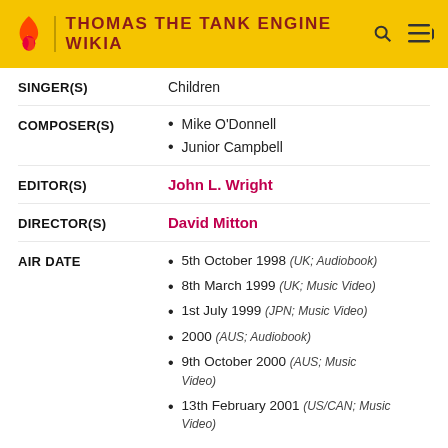THOMAS THE TANK ENGINE WIKIA
| Field | Value |
| --- | --- |
| SINGER(S) | Children |
| COMPOSER(S) | Mike O'Donnell
Junior Campbell |
| EDITOR(S) | John L. Wright |
| DIRECTOR(S) | David Mitton |
| AIR DATE | 5th October 1998 (UK; Audiobook)
8th March 1999 (UK; Music Video)
1st July 1999 (JPN; Music Video)
2000 (AUS; Audiobook)
9th October 2000 (AUS; Music Video)
13th February 2001 (US/CAN; Music Video) |